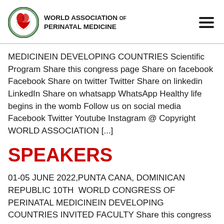[Figure (logo): World Association of Perinatal Medicine circular logo with red heart/figure design and green border]
WORLD ASSOCIATION OF PERINATAL MEDICINE
MEDICINEIN DEVELOPING COUNTRIES Scientific Program Share this congress page Share on facebook Facebook Share on twitter Twitter Share on linkedin LinkedIn Share on whatsapp WhatsApp Healthy life begins in the womb Follow us on social media Facebook Twitter Youtube Instagram @ Copyright WORLD ASSOCIATION [...]
SPEAKERS
01-05 JUNE 2022,PUNTA CANA, DOMINICAN REPUBLIC 10TH  WORLD CONGRESS OF PERINATAL MEDICINEIN DEVELOPING COUNTRIES INVITED FACULTY Share this congress page Share on